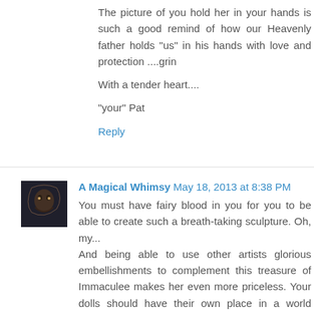The picture of you hold her in your hands is such a good remind of how our Heavenly father holds "us" in his hands with love and protection ....grin
With a tender heart....
"your" Pat
Reply
[Figure (photo): Small avatar photo of A Magical Whimsy commenter, dark toned image]
A Magical Whimsy May 18, 2013 at 8:38 PM
You must have fairy blood in you for you to be able to create such a breath-taking sculpture. Oh, my... And being able to use other artists glorious embellishments to complement this treasure of Immaculee makes her even more priceless. Your dolls should have their own place in a world renowned art museum. I know the person to whom this beautiful doll is going to in Japan will be in awe of the indescribable, ethereal quality of this doll. (Yes between you and Christel, you both are in the upper 1 per cent of doll makers who can't be compared to